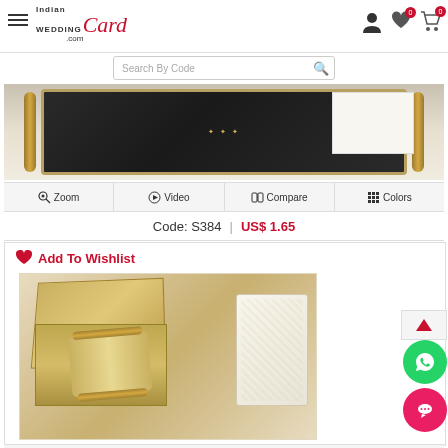[Figure (screenshot): Indian Wedding Card website header with logo, hamburger menu, user/wishlist/cart icons, and search bar]
[Figure (photo): Top portion of a scroll wedding invitation card product image (dark card with gold accents)]
Zoom | Video | Compare | Colors
Code: S384 | US$ 1.65
Add To Wishlist
[Figure (photo): Gold scroll wedding invitation card shown with open box, scroll rolled out, and ornate book/folder, all in gold/cream tones]